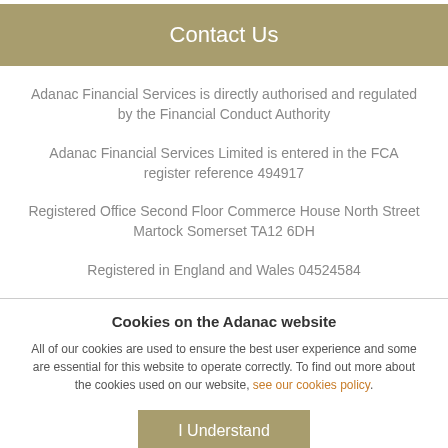Contact Us
Adanac Financial Services is directly authorised and regulated by the Financial Conduct Authority
Adanac Financial Services Limited is entered in the FCA register reference 494917
Registered Office Second Floor Commerce House North Street Martock Somerset TA12 6DH
Registered in England and Wales 04524584
Cookies on the Adanac website
All of our cookies are used to ensure the best user experience and some are essential for this website to operate correctly. To find out more about the cookies used on our website, see our cookies policy.
I Understand